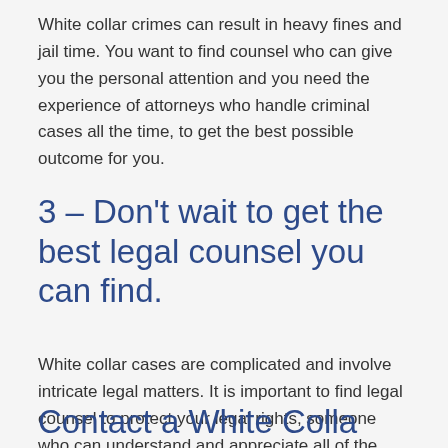White collar crimes can result in heavy fines and jail time. You want to find counsel who can give you the personal attention and you need the experience of attorneys who handle criminal cases all the time, to get the best possible outcome for you.
3 – Don't wait to get the best legal counsel you can find.
White collar cases are complicated and involve intricate legal matters. It is important to find legal counsel to protect your legal rights, someone who can understand and appreciate all of the facts and legal nuances, present them in your defense and take action immediately to represent you.
Contact a White Colla...